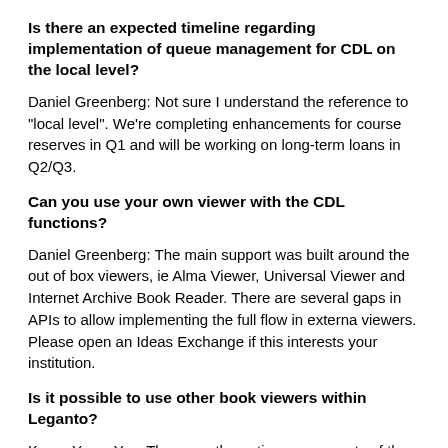Is there an expected timeline regarding implementation of queue management for CDL on the local level?
Daniel Greenberg: Not sure I understand the reference to “local level”. We’re completing enhancements for course reserves in Q1 and will be working on long-term loans in Q2/Q3.
Can you use your own viewer with the CDL functions?
Daniel Greenberg: The main support was built around the out of box viewers, ie Alma Viewer, Universal Viewer and Internet Archive Book Reader. There are several gaps in APIs to allow implementing the full flow in externa viewers. Please open an Ideas Exchange if this interests your institution.
Is it possible to use other book viewers within Leganto?
Karen Yeon: Yes. There are the native components of the...